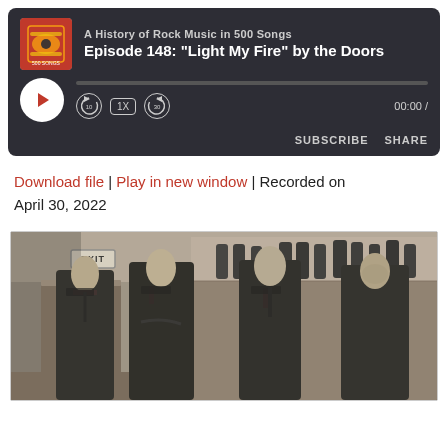[Figure (screenshot): Podcast player widget with dark background showing 'A History of Rock Music in 500 Songs' — Episode 148: "Light My Fire" by the Doors. Includes album art, play button, progress bar, speed controls (10 back, 1X, 30 forward), time display 00:00, SUBSCRIBE and SHARE buttons.]
Download file | Play in new window | Recorded on April 30, 2022
[Figure (photo): Black and white photograph of The Doors — four male band members standing in a bar or club setting, with EXIT sign visible, shelves of bottles in background.]